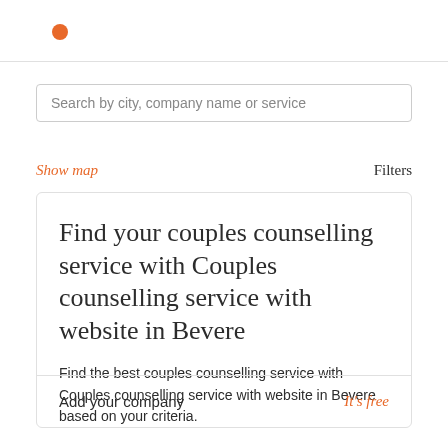Search by city, company name or service
Show map
Filters
Find your couples counselling service with Couples counselling service with website in Bevere
Find the best couples counselling service with Couples counselling service with website in Bevere based on your criteria.
Add your company
It's free